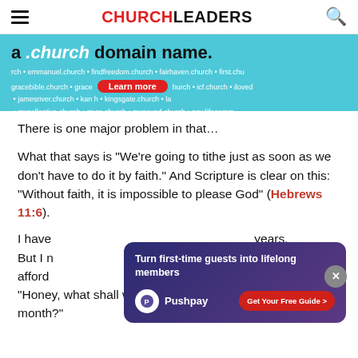CHURCHLEADERS
[Figure (screenshot): Advertisement banner for .church domain names with 'Learn more' button on cyan background, showing example church domain names]
There is one major problem in that…
What that says is "We're going to tithe just as soon as we don't have to do it by faith." And Scripture is clear on this: "Without faith, it is impossible to please God" (Hebrews 11:6).
I have [text obscured] years. But I n[text obscured]ould afford [text obscured]use. "Honey, what shall we do with the extra money this month?"
[Figure (infographic): Pushpay advertisement overlay: 'Turn first-time guests into lifelong members' with Pushpay logo and 'Get Your Free Guide >' button]